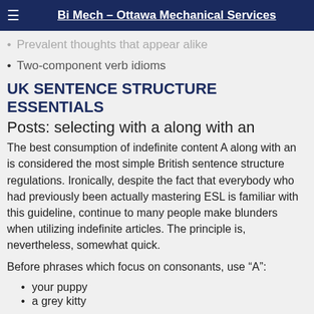Bi Mech - Ottawa Mechanical Services
Prevalent thoughts that appear alike
Two-component verb idioms
UK SENTENCE STRUCTURE ESSENTIALS
Posts: selecting with a along with an
The best consumption of indefinite content A along with an is considered the most simple British sentence structure regulations. Ironically, despite the fact that everybody who had previously been actually mastering ESL is familiar with this guideline, continue to many people make blunders when utilizing indefinite articles. The principle is, nevertheless, somewhat quick.
Before phrases which focus on consonants, use “A”:
your puppy
a grey kitty